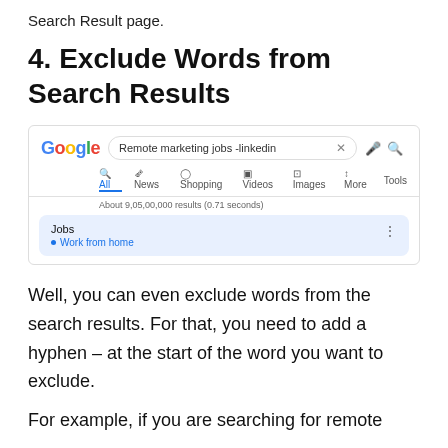Search Result page.
4. Exclude Words from Search Results
[Figure (screenshot): Google search screenshot showing query 'Remote marketing jobs -linkedin' with search tabs (All, News, Shopping, Videos, Images, More, Tools), result count 'About 9,05,00,000 results (0.71 seconds)', and a Jobs box with 'Work from home' link highlighted in blue background.]
Well, you can even exclude words from the search results. For that, you need to add a hyphen – at the start of the word you want to exclude.
For example, if you are searching for remote